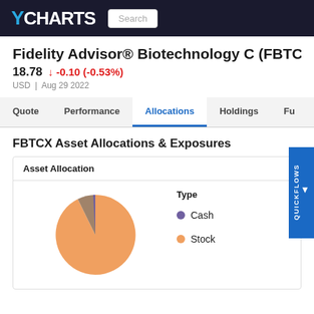YCHARTS
Fidelity Advisor® Biotechnology C (FBTCX)
18.78  ↓ -0.10 (-0.53%)
USD  |  Aug 29 2022
Quote  Performance  Allocations  Holdings  Fu...
FBTCX Asset Allocations & Exposures
| Asset Allocation |
| --- |
[Figure (pie-chart): Partial pie chart showing asset allocation with orange (Stock) as dominant slice and small purple/brown (Cash) slice]
Type
Cash
Stock